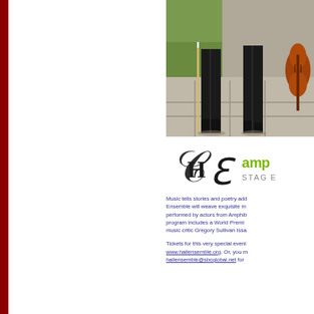[Figure (photo): Photo of musicians standing outdoors on stone pavement, showing legs and feet of performers in black clothing, one holding a violin bow and another holding a violin]
[Figure (logo): Hall Ensemble monogram logo (stylized CHE letters) alongside Amphibian Stage text logo in green with 'STAGE' text below]
Music tells stories and poetry adds meaning. Hall Ensemble will weave exquisite music with poetry performed by actors from Amphibian Stage. The program includes a World Premiere of poetry by music critic Gregory Sullivan Issa...
Tickets for this very special evening at www.hallensemble.org. Or, you may email hallensemble@sbcglobal.net for more information and tickets.